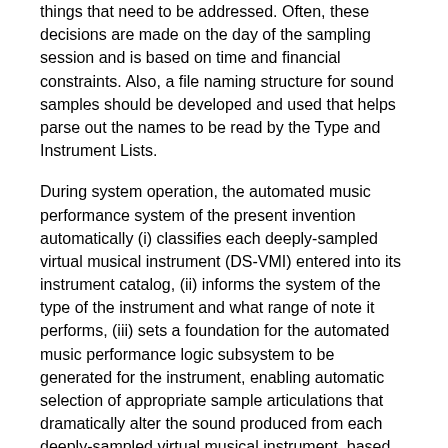things that need to be addressed. Often, these decisions are made on the day of the sampling session and is based on time and financial constraints. Also, a file naming structure for sound samples should be developed and used that helps parse out the names to be read by the Type and Instrument Lists.
During system operation, the automated music performance system of the present invention automatically (i) classifies each deeply-sampled virtual musical instrument (DS-VMI) entered into its instrument catalog, (ii) informs the system of the type of the instrument and what range of note it performs, (iii) sets a foundation for the automated music performance logic subsystem to be generated for the instrument, enabling automatic selection of appropriate sample articulations that dramatically alter the sound produced from each deeply-sampled virtual musical instrument, based on the music-theoretic states of an input music composition being digitally performed.
Specification of the Method of Sampling and Recording Samples from Real Musical Instruments and Other Non-Musical Audio Sources of the Present Invention